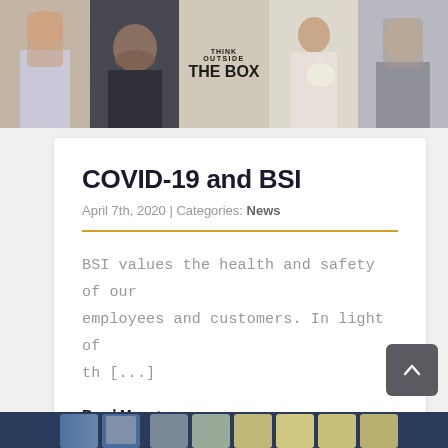[Figure (photo): Collage of five people in photos side by side at the top of the page. Includes a person with long hair, a bearded man, someone holding a 'THINK OUTSIDE THE BOX' sign, a person with yarn/crafts, and a person with long grey hair.]
COVID-19 and BSI
April 7th, 2020 | Categories: News
BSI values the health and safety of our employees and customers. In light of th [...]
Read More >
[Figure (photo): Partial photo at the bottom of the page showing blue metallic containers or tumblers on a shelf.]